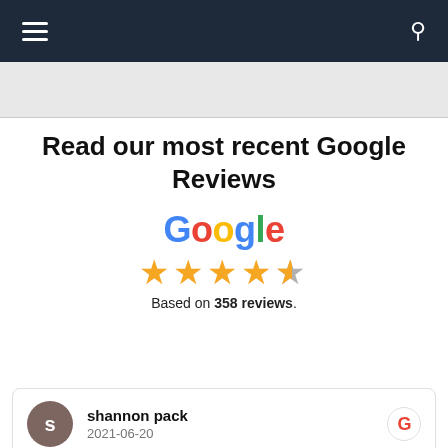[Figure (screenshot): Dark navy navigation bar with hamburger menu icon on the left and search icon on the right]
Read our most recent Google Reviews
[Figure (logo): Google wordmark in multicolor followed by 4.5 gold star rating. Based on 358 reviews.]
Based on 358 reviews.
shannon pack
2021-06-20